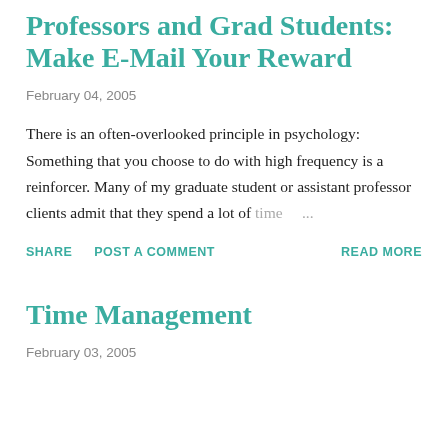Professors and Grad Students: Make E-Mail Your Reward
February 04, 2005
There is an often-overlooked principle in psychology: Something that you choose to do with high frequency is a reinforcer. Many of my graduate student or assistant professor clients admit that they spend a lot of time ...
SHARE  POST A COMMENT  READ MORE
Time Management
February 03, 2005